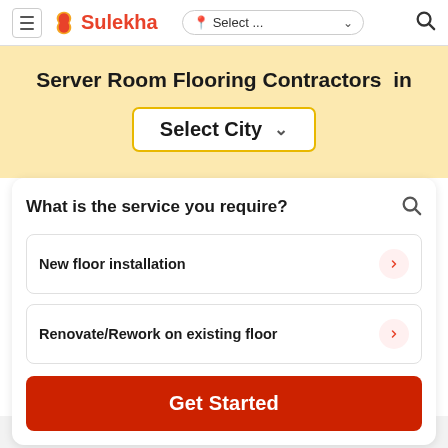Sulekha — Select ... (location dropdown) — Search
Server Room Flooring Contractors in Select City
What is the service you require?
New floor installation
Renovate/Rework on existing floor
Get Started
How Sulekha works?